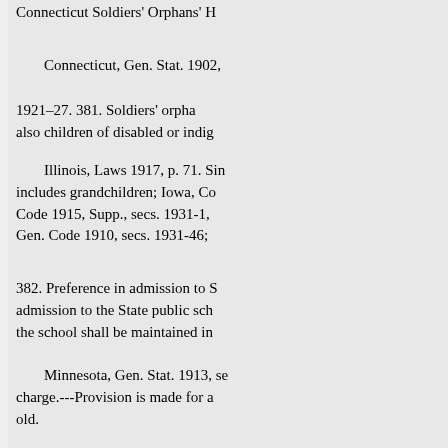Connecticut Soldiers' Orphans' H
Connecticut, Gen. Stat. 1902,
1921–27. 381. Soldiers' orpha... also children of disabled or indig
Illinois, Laws 1917, p. 71. Sin... includes grandchildren; Iowa, Co... Code 1915, Supp., secs. 1931-1,... Gen. Code 1910, secs. 1931-46;
382. Preference in admission to S... admission to the State public sch... the school shall be maintained in
Minnesota, Gen. Stat. 1913, se... charge.---Provision is made for a... old.
Pennsylvania, 4 Purdon's D... Supp., pp. 7537–8.
Military organizations may... Parading on Sunday.....